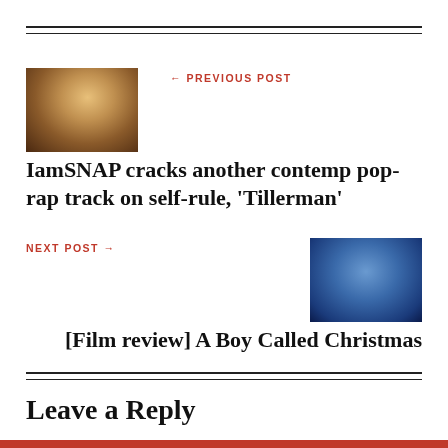[Figure (photo): Thumbnail photo of a person outdoors in a desert/sandy landscape, wearing a dark shirt, facing sideways]
← PREVIOUS POST
IamSNAP cracks another contemp pop-rap track on self-rule, 'Tillerman'
NEXT POST →
[Figure (photo): Thumbnail photo with blue/cool tones showing what appears to be a festive Christmas-themed scene with figures]
[Film review] A Boy Called Christmas
Leave a Reply